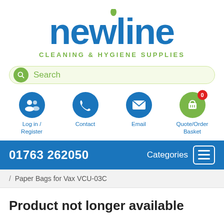[Figure (logo): Newline Cleaning & Hygiene Supplies logo with blue wordmark and green drop above the 'i', and green subtitle text]
[Figure (screenshot): Search bar with green circle search icon and placeholder text 'Search' in green]
[Figure (infographic): Four navigation icon buttons: Log in/Register (blue circle with people icon), Contact (blue circle with phone icon), Email (blue circle with envelope icon), Quote/Order Basket (green circle with basket icon and red badge showing 0)]
01763 262050
Categories
/ Paper Bags for Vax VCU-03C
Product not longer available